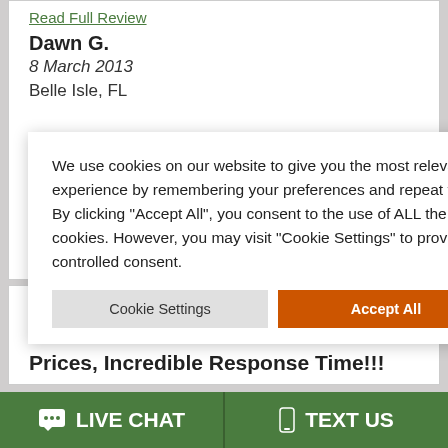Read Full Review
Dawn G.
8 March 2013
Belle Isle, FL
[Figure (other): 5 gold stars rating]
Excellent Service, Excellent Prices, Incredible Response Time!!!
We use cookies on our website to give you the most relevant experience by remembering your preferences and repeat visits. By clicking "Accept All", you consent to the use of ALL the cookies. However, you may visit "Cookie Settings" to provide a controlled consent.
Cookie Settings
Accept All
LIVE CHAT
TEXT US